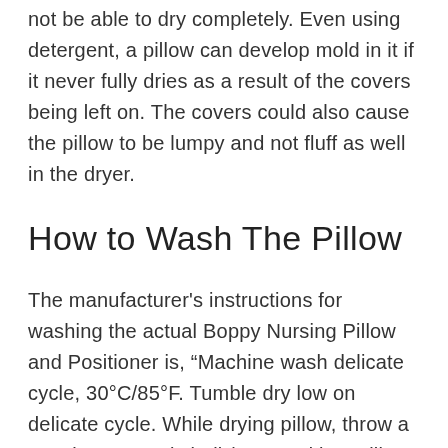not be able to dry completely. Even using detergent, a pillow can develop mold in it if it never fully dries as a result of the covers being left on. The covers could also cause the pillow to be lumpy and not fluff as well in the dryer.
How to Wash The Pillow
The manufacturer's instructions for washing the actual Boppy Nursing Pillow and Positioner is, “Machine wash delicate cycle, 30°C/85°F. Tumble dry low on delicate cycle. While drying pillow, throw a sneaker or tennis ball (wrapped in a pillow case) in the dryer to help the